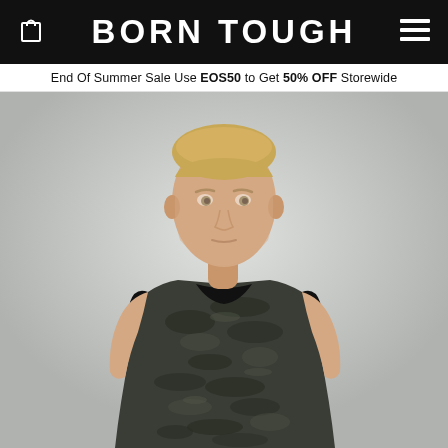BORN TOUGH
End Of Summer Sale Use EOS50 to Get 50% OFF Storewide
[Figure (photo): Male model with short blonde hair wearing a dark camouflage sleeveless tank top with black trim at neck and armholes, against a light grey background. Upper body and face visible, showing athletic build.]